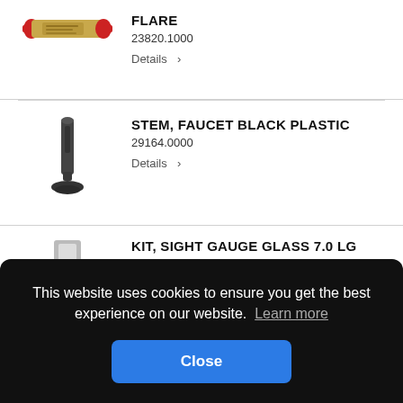[Figure (photo): Brass inline fuel filter with red end fittings, cylindrical body with label]
FLARE
23820.1000
Details >
[Figure (photo): Black plastic faucet stem, elongated with base flange]
STEM, FAUCET BLACK PLASTIC
29164.0000
Details >
This website uses cookies to ensure you get the best experience on our website. Learn more
Close
[Figure (photo): Partial view of a product image at bottom]
KIT, SIGHT GAUGE GLASS 7.0 LG